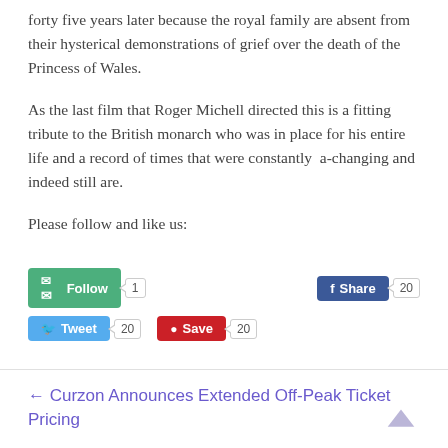forty five years later because the royal family are absent from their hysterical demonstrations of grief over the death of the Princess of Wales.
As the last film that Roger Michell directed this is a fitting tribute to the British monarch who was in place for his entire life and a record of times that were constantly a-changing and indeed still are.
Please follow and like us:
[Figure (infographic): Social media buttons: Follow (count 1), Share on Facebook (count 20), Tweet (count 20), Save on Pinterest (count 20)]
← Curzon Announces Extended Off-Peak Ticket Pricing